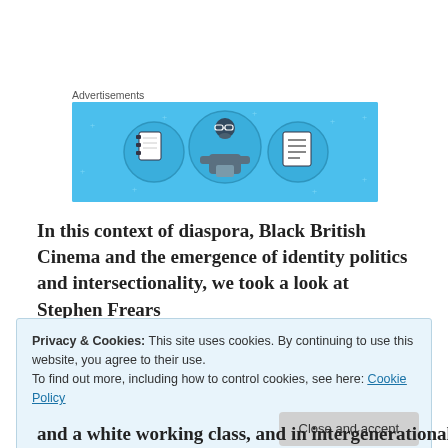Advertisements
[Figure (illustration): Advertisement banner with light blue background showing three circular icons: a notebook on the left, a person in the center, and a document/list on the right, with small star/plus decorations scattered around]
In this context of diaspora, Black British Cinema and the emergence of identity politics and intersectionality, we took a look at Stephen Frears
Privacy & Cookies: This site uses cookies. By continuing to use this website, you agree to their use.
To find out more, including how to control cookies, see here: Cookie Policy
and a white working class, and in intergenerational